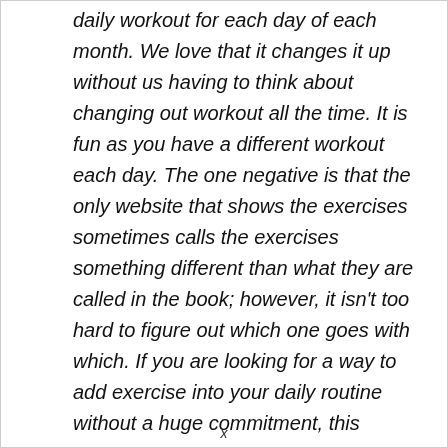daily workout for each day of each month. We love that it changes it up without us having to think about changing out workout all the time. It is fun as you have a different workout each day. The one negative is that the only website that shows the exercises sometimes calls the exercises something different than what they are called in the book; however, it isn't too hard to figure out which one goes with which. If you are looking for a way to add exercise into your daily routine without a huge commitment, this
x